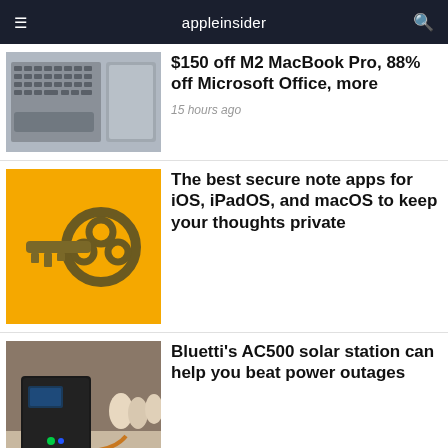appleinsider
[Figure (photo): MacBook keyboard and trackpad photo thumbnail]
$150 off M2 MacBook Pro, 88% off Microsoft Office, more
15 hours ago
[Figure (photo): Golden antique key on yellow background]
The best secure note apps for iOS, iPadOS, and macOS to keep your thoughts private
[Figure (photo): Bluetti AC500 solar power station unit]
Bluetti's AC500 solar station can help you beat power outages